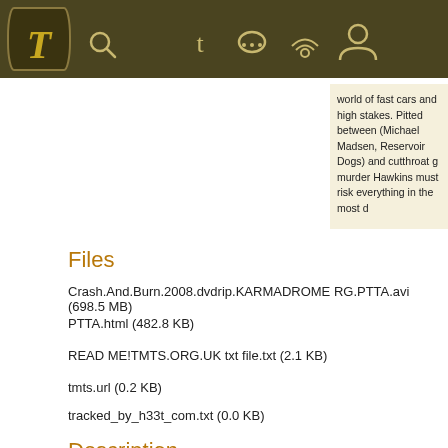[Figure (screenshot): Website navigation bar with dark olive/brown background, a shield logo with decorative 'T' on left, search icon, and navigation icons (tumblr, chat, RSS, user) centered/right]
world of fast cars and high stakes. Pitted between (Michael Madsen, Reservoir Dogs) and cutthroat g murder Hawkins must risk everything in the most d
Files
Crash.And.Burn.2008.dvdrip.KARMADROME RG.PTTA.avi (698.5 MB)
PTTA.html (482.8 KB)
READ ME!TMTS.ORG.UK txt file.txt (2.1 KB)
tmts.url (0.2 KB)
tracked_by_h33t_com.txt (0.0 KB)
Description
[Figure (photo): Movie poster for 'Crash and Burn' (2008) with tagline 'Life in the Fast Lane'. Shows actors Erik Palladino, Michael Madsen, David Moscow, Peter Jason, David Groh listed at top. Large title text 'CRASH AND BURN' in red and yellow. Unrated stamp. Dark fiery background with actor figures at bottom.]